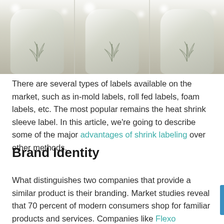[Figure (photo): Three decorative glass bottles/jars with botanical fern-like labels, photographed from above showing tops, arranged side by side on a light background.]
There are several types of labels available on the market, such as in-mold labels, roll fed labels, foam labels, etc. The most popular remains the heat shrink sleeve label. In this article, we're going to describe some of the major advantages of shrink labeling over other methods.
Brand Identity
What distinguishes two companies that provide a similar product is their branding. Market studies reveal that 70 percent of modern consumers shop for familiar products and services. Companies like Flexo Impressions create sleeves that deliver cost-friendly, decorative labeling that